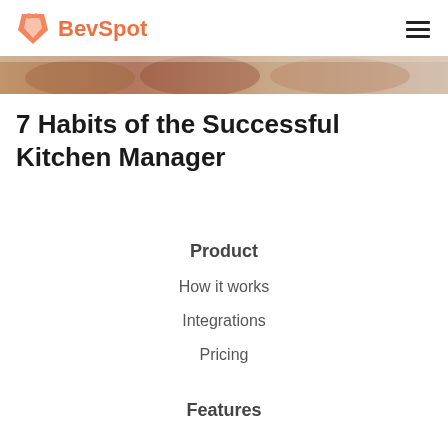BevSpot
[Figure (photo): Partial view of food items, appears to be baked goods or similar food photographed close up]
7 Habits of the Successful Kitchen Manager
Product
How it works
Integrations
Pricing
Features